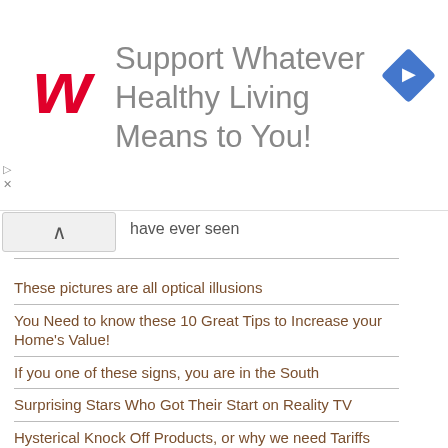[Figure (logo): Walgreens advertisement banner with stylized W logo in red, tagline 'Support Whatever Healthy Living Means to You!' in gray, and a blue diamond navigation icon on the right]
have ever seen
These pictures are all optical illusions
You Need to know these 10 Great Tips to Increase your Home's Value!
If you one of these signs, you are in the South
Surprising Stars Who Got Their Start on Reality TV
Hysterical Knock Off Products, or why we need Tariffs
How about some good old